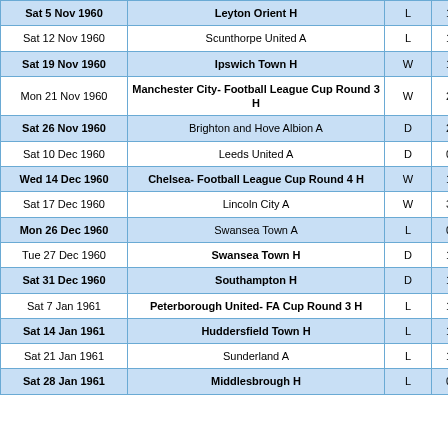| Date | Match | Result | Score |
| --- | --- | --- | --- |
| Sat 5 Nov 1960 | Leyton Orient H | L | 1 - 2 |
| Sat 12 Nov 1960 | Scunthorpe United A | L | 1 - 5 |
| Sat 19 Nov 1960 | Ipswich Town H | W | 1 - 0 |
| Mon 21 Nov 1960 | Manchester City- Football League Cup Round 3 H | W | 2 - 0 |
| Sat 26 Nov 1960 | Brighton and Hove Albion A | D | 2 - 2 |
| Sat 10 Dec 1960 | Leeds United A | D | 0 - 0 |
| Wed 14 Dec 1960 | Chelsea- Football League Cup Round 4 H | W | 1 - 0 |
| Sat 17 Dec 1960 | Lincoln City A | W | 3 - 2 |
| Mon 26 Dec 1960 | Swansea Town A | L | 0 - 4 |
| Tue 27 Dec 1960 | Swansea Town H | D | 1 - 1 |
| Sat 31 Dec 1960 | Southampton H | D | 1 - 1 |
| Sat 7 Jan 1961 | Peterborough United- FA Cup Round 3 H | L | 1 - 2 |
| Sat 14 Jan 1961 | Huddersfield Town H | L | 1 - 3 |
| Sat 21 Jan 1961 | Sunderland A | L | 1 - 4 |
| Sat 28 Jan 1961 | Middlesbrough H | L | 0 - 3 |